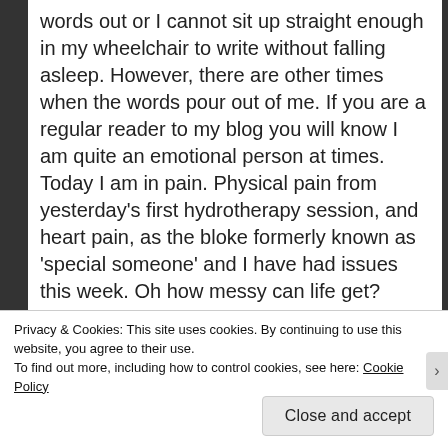words out or I cannot sit up straight enough in my wheelchair to write without falling asleep. However, there are other times when the words pour out of me. If you are a regular reader to my blog you will know I am quite an emotional person at times. Today I am in pain. Physical pain from yesterday's first hydrotherapy session, and heart pain, as the bloke formerly known as 'special someone' and I have had issues this week. Oh how messy can life get? However, their loss!
I am planning a weekend of writing to take my
Privacy & Cookies: This site uses cookies. By continuing to use this website, you agree to their use.
To find out more, including how to control cookies, see here: Cookie Policy